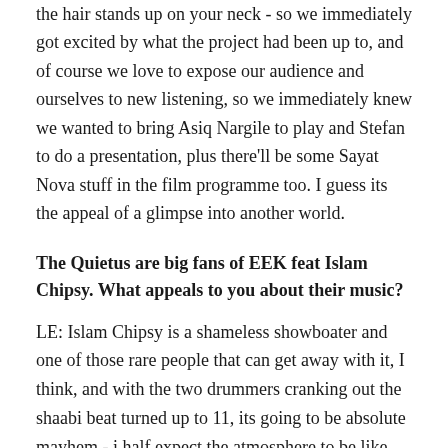the hair stands up on your neck - so we immediately got excited by what the project had been up to, and of course we love to expose our audience and ourselves to new listening, so we immediately knew we wanted to bring Asiq Nargile to play and Stefan to do a presentation, plus there'll be some Sayat Nova stuff in the film programme too. I guess its the appeal of a glimpse into another world.
The Quietus are big fans of EEK feat Islam Chipsy. What appeals to you about their music?
LE: Islam Chipsy is a shameless showboater and one of those rare people that can get away with it, I think, and with the two drummers cranking out the shaabi beat turned up to 11, its going to be absolute mayhem - i half expect the atmosphere to be like the first time Omar Souleyman played here, but at double speed.
You've got a couple of off-site events this year: Mark Fell's